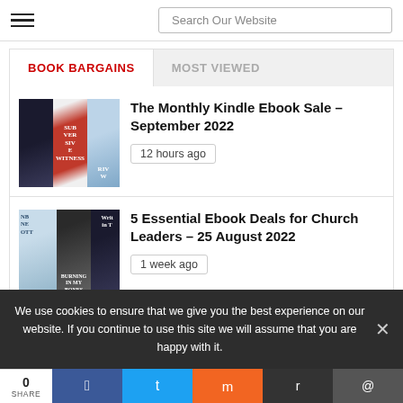Search Our Website
BOOK BARGAINS | MOST VIEWED
[Figure (illustration): Three book covers for Monthly Kindle Ebook Sale September 2022]
The Monthly Kindle Ebook Sale – September 2022
12 hours ago
[Figure (illustration): Three book covers for 5 Essential Ebook Deals for Church Leaders – 25 August 2022]
5 Essential Ebook Deals for Church Leaders – 25 August 2022
1 week ago
We use cookies to ensure that we give you the best experience on our website. If you continue to use this site we will assume that you are happy with it.
0 SHARE | Facebook | Twitter | Mix | Reddit | Email